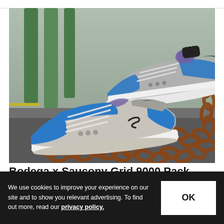[Figure (photo): Two Bodega x Saucony Grid 9000 sneakers — blue, grey, and purple colorway — resting on rusty chains and a rock outdoors, with green poles blurred in the background.]
Bodega x Saucony Grid 9000 Pack
We use cookies to improve your experience on our site and to show you relevant advertising. To find out more, read our privacy policy.